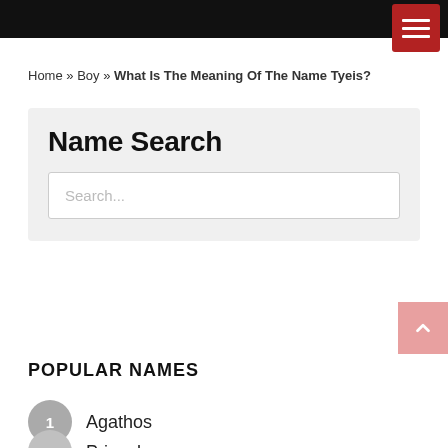Home » Boy » What Is The Meaning Of The Name Tyeis?
Name Search
Search...
POPULAR NAMES
1 Agathos
2 Priyanka